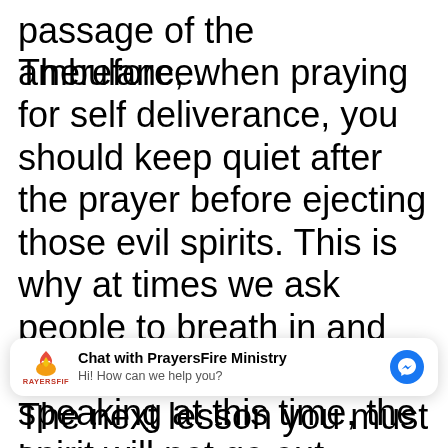passage of the ambulance.
Therefore, when praying for self deliverance, you should keep quiet after the prayer before ejecting those evil spirits. This is why at times we ask people to breath in and out. If you are praying or speaking at this time, the spirit will not go out because you have not opened the way for
[Figure (other): Chat widget overlay showing PrayersFire Ministry logo (flame icon with RAYERSFIF label), bold text 'Chat with PrayersFire Ministry', subtitle 'Hi! How can we help you?', and a blue Facebook Messenger icon button on the right.]
The next lesson you must learn